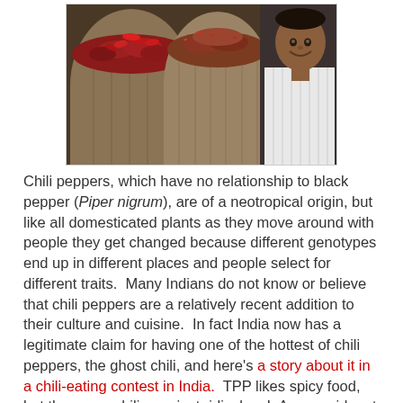[Figure (photo): A person smiling standing behind large burlap sacks filled with red chili peppers at an Indian spice market]
Chili peppers, which have no relationship to black pepper (Piper nigrum), are of a neotropical origin, but like all domesticated plants as they move around with people they get changed because different genotypes end up in different places and people select for different traits.  Many Indians do not know or believe that chili peppers are a relatively recent addition to their culture and cuisine.  In fact India now has a legitimate claim for having one of the hottest of chili peppers, the ghost chili, and here's a story about it in a chili-eating contest in India.  TPP likes spicy food, but these are chilis are just ridiculous!  As an aside, at the other end of the spectrum, the fried (mild!) chili peppers at Gram and Dun, a gastropub in KC, are